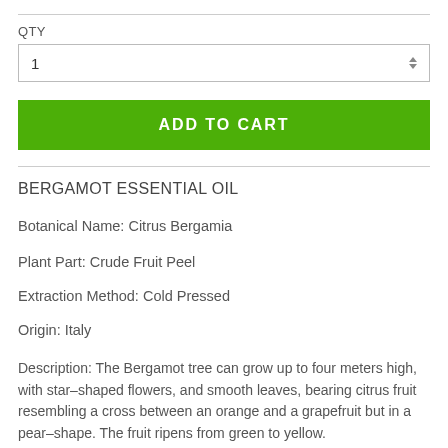QTY
1
ADD TO CART
BERGAMOT ESSENTIAL OIL
Botanical Name: Citrus Bergamia
Plant Part: Crude Fruit Peel
Extraction Method: Cold Pressed
Origin: Italy
Description: The Bergamot tree can grow up to four meters high, with star–shaped flowers, and smooth leaves, bearing citrus fruit resembling a cross between an orange and a grapefruit but in a pear–shape. The fruit ripens from green to yellow.